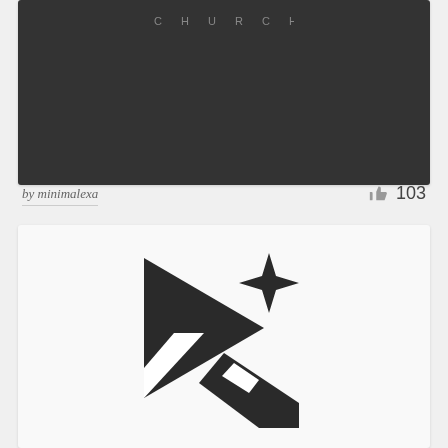[Figure (logo): Dark gray card with the word CHURCH in spaced gray capital letters on a dark background]
by minimalexa
103
[Figure (logo): White card with a stylized play button logo made of a dark triangle arrow and a decorative star/sparkle element with a diagonal stripe, forming a media or streaming brand mark]